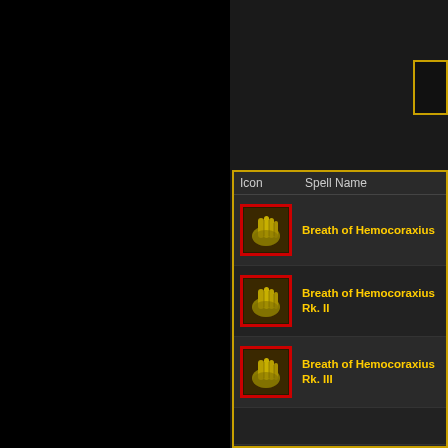| Icon | Spell Name |
| --- | --- |
| [hand icon] | Breath of Hemocoraxius |
| [hand icon] | Breath of Hemocoraxius Rk. II |
| [hand icon] | Breath of Hemocoraxius Rk. III |
| [shield icon] | Doomscale Focusing |